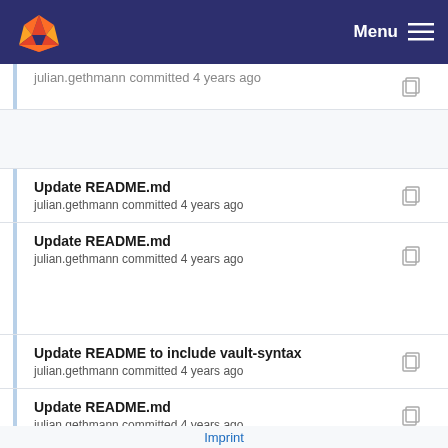Menu
Update README.md
julian.gethmann committed 4 years ago
Update README.md
julian.gethmann committed 4 years ago
Update README to include vault-syntax
julian.gethmann committed 4 years ago
Update README.md
julian.gethmann committed 4 years ago
Update README.md
Imprint